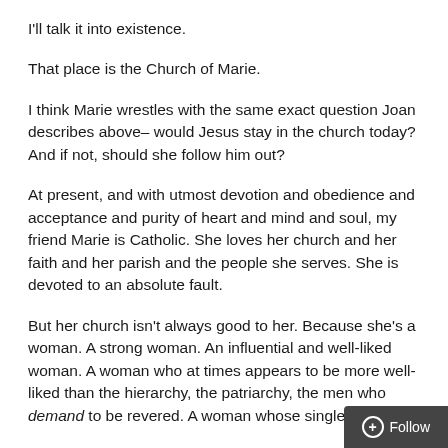I'll talk it into existence.
That place is the Church of Marie.
I think Marie wrestles with the same exact question Joan describes above– would Jesus stay in the church today? And if not, should she follow him out?
At present, and with utmost devotion and obedience and acceptance and purity of heart and mind and soul, my friend Marie is Catholic. She loves her church and her faith and her parish and the people she serves. She is devoted to an absolute fault.
But her church isn't always good to her. Because she's a woman. A strong woman. An influential and well-liked woman. A woman who at times appears to be more well-liked than the hierarchy, the patriarchy, the men who demand to be revered. A woman whose single-